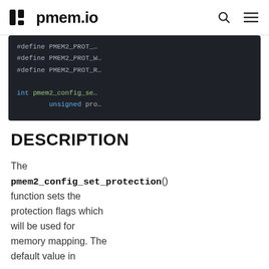pmem.io
[Figure (screenshot): Code block showing C definitions: #define PMEM2_PROT_... lines and int pmem2_config_set... function signature with unsigned pro... parameter, on dark background]
DESCRIPTION
The pmem2_config_set_protection() function sets the protection flags which will be used for memory mapping. The default value in